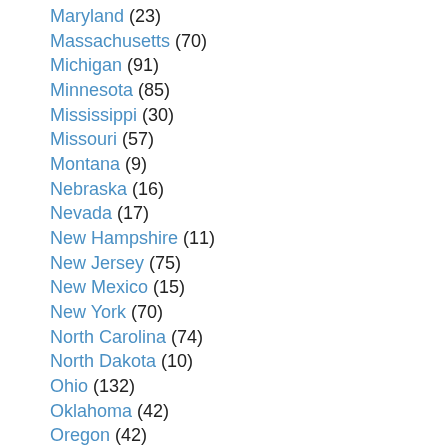Maryland (23)
Massachusetts (70)
Michigan (91)
Minnesota (85)
Mississippi (30)
Missouri (57)
Montana (9)
Nebraska (16)
Nevada (17)
New Hampshire (11)
New Jersey (75)
New Mexico (15)
New York (70)
North Carolina (74)
North Dakota (10)
Ohio (132)
Oklahoma (42)
Oregon (42)
Pennsylvania (44)
Rhode Island (15)
South Carolina (27)